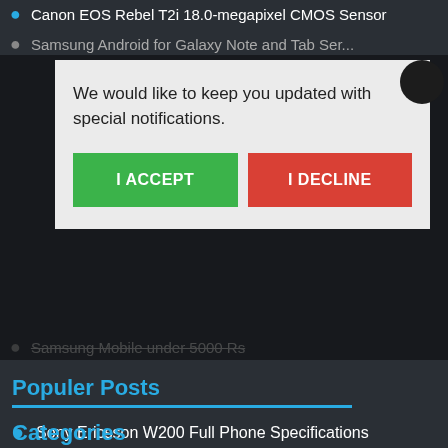Canon EOS Rebel T2i 18.0-megapixel CMOS Sensor
Samsung Android for Galaxy Note and Tab Series
[Figure (screenshot): Cookie/notification consent modal dialog with white background, text 'We would like to keep you updated with special notifications.', green 'I ACCEPT' button and red 'I DECLINE' button, with a dark close button circle in top right]
Samsung Mobile under 5000 Rs
Populer Posts
Sony Ericsson W200 Full Phone Specifications
Samsung T369 Full Phone Specifications
Plum Axe Plus Full Phone Specifications
Samsung E1410 Full Phone Specifications
Motorola V535 Full Phone Specifications
Categories